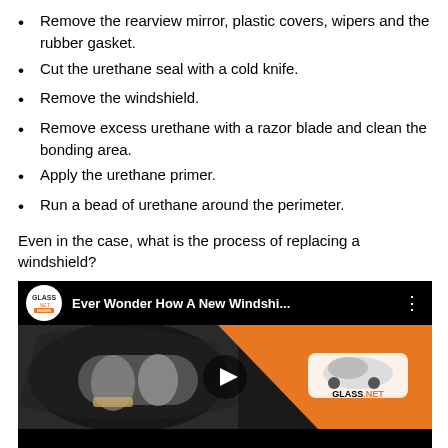Remove the rearview mirror, plastic covers, wipers and the rubber gasket.
Cut the urethane seal with a cold knife.
Remove the windshield.
Remove excess urethane with a razor blade and clean the bonding area.
Apply the urethane primer.
Run a bead of urethane around the perimeter.
Even in the case, what is the process of replacing a windshield?
[Figure (screenshot): YouTube video thumbnail for 'Ever Wonder How A New Windshi...' by Glass.NET, showing a person installing a windshield with an orange and black thumbnail overlay and a play button.]